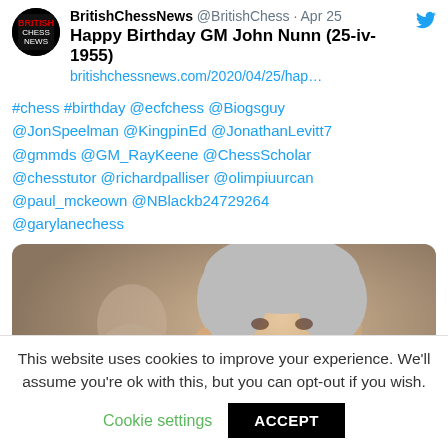BritishChessNews @BritishChess · Apr 25
Happy Birthday GM John Nunn (25-iv-1955)
britishchessnews.com/2020/04/25/hap…
#chess #birthday @ecfchess @Biogsguy @JonSpeelman @KingpinEd @JonathanLevitt7 @gmmds @GM_RayKeene @ChessScholar @chesstutor @richardpalliser @olimpiuurcan @paul_mckeown @NBlackb24729264 @garylanechess
[Figure (photo): A man with grey hair, hand on chin, in contemplative pose at what appears to be a chess event.]
This website uses cookies to improve your experience. We'll assume you're ok with this, but you can opt-out if you wish.
Cookie settings   ACCEPT